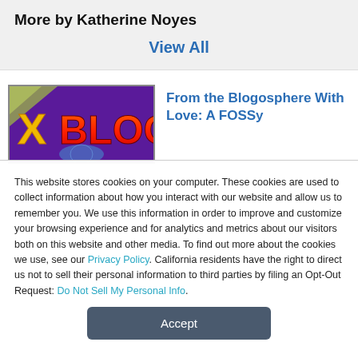More by Katherine Noyes
View All
[Figure (screenshot): X BLOG logo image with purple background and colorful text]
From the Blogosphere With Love: A FOSSy
This website stores cookies on your computer. These cookies are used to collect information about how you interact with our website and allow us to remember you. We use this information in order to improve and customize your browsing experience and for analytics and metrics about our visitors both on this website and other media. To find out more about the cookies we use, see our Privacy Policy. California residents have the right to direct us not to sell their personal information to third parties by filing an Opt-Out Request: Do Not Sell My Personal Info.
Accept